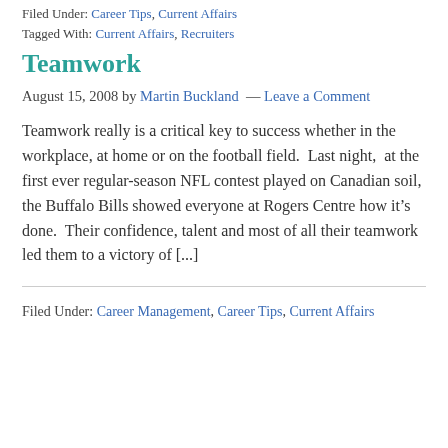Filed Under: Career Tips, Current Affairs
Tagged With: Current Affairs, Recruiters
Teamwork
August 15, 2008 by Martin Buckland — Leave a Comment
Teamwork really is a critical key to success whether in the workplace, at home or on the football field.  Last night,  at the first ever regular-season NFL contest played on Canadian soil, the Buffalo Bills showed everyone at Rogers Centre how it’s done.  Their confidence, talent and most of all their teamwork led them to a victory of [...]
Filed Under: Career Management, Career Tips, Current Affairs